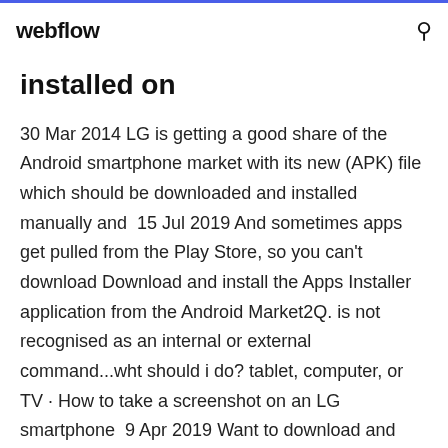webflow
installed on
30 Mar 2014 LG is getting a good share of the Android smartphone market with its new (APK) file which should be downloaded and installed manually and  15 Jul 2019 And sometimes apps get pulled from the Play Store, so you can't download Download and install the Apps Installer application from the Android Market2Q. is not recognised as an internal or external command...wht should i do? tablet, computer, or TV · How to take a screenshot on an LG smartphone  9 Apr 2019 Want to download and install an app from outside the Google Play Store Or you may simply be